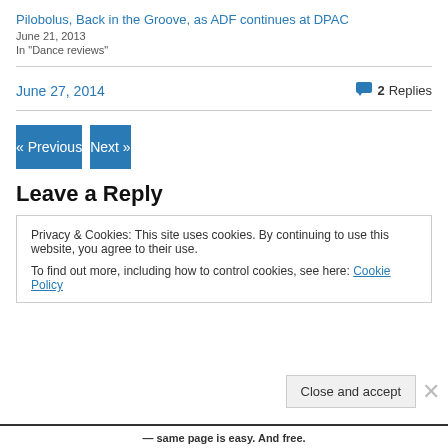Pilobolus, Back in the Groove, as ADF continues at DPAC
June 21, 2013
In "Dance reviews"
June 27, 2014
2 Replies
« Previous
Next »
Leave a Reply
Privacy & Cookies: This site uses cookies. By continuing to use this website, you agree to their use.
To find out more, including how to control cookies, see here: Cookie Policy
Close and accept
same page is easy. And free.